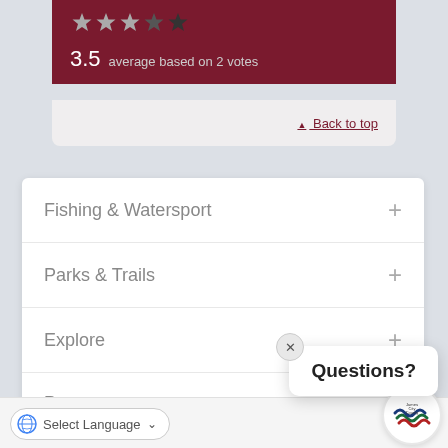[Figure (other): Star rating display showing 3.5 stars out of 5 on a dark red background]
3.5 average based on 2 votes
▲ Back to top
Fishing & Watersport +
Parks & Trails +
Explore +
Programs
Questions?
Select Language